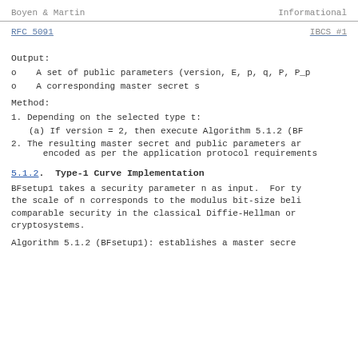Boyen & Martin                      Informational
RFC 5091                                    IBCS #1
Output:
A set of public parameters (version, E, p, q, P, P_p
A corresponding master secret s
Method:
1. Depending on the selected type t:
(a) If version = 2, then execute Algorithm 5.1.2 (BF
2. The resulting master secret and public parameters ar encoded as per the application protocol requirements
5.1.2.  Type-1 Curve Implementation
BFsetup1 takes a security parameter n as input.  For ty the scale of n corresponds to the modulus bit-size beli comparable security in the classical Diffie-Hellman or cryptosystems.
Algorithm 5.1.2 (BFsetup1): establishes a master secre